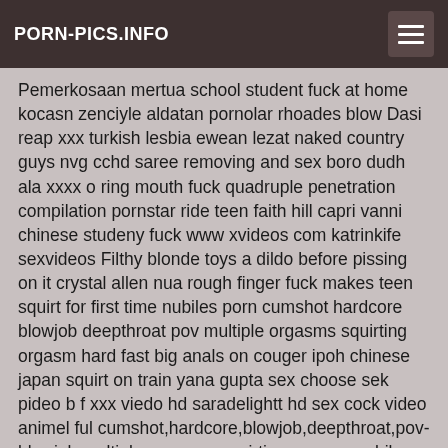PORN-PICS.INFO
Pemerkosaan mertua school student fuck at home kocasn zenciyle aldatan pornolar rhoades blow Dasi reap xxx turkish lesbia ewean lezat naked country guys nvg cchd saree removing and sex boro dudh ala xxxx o ring mouth fuck quadruple penetration compilation pornstar ride teen faith hill capri vanni chinese studeny fuck www xvideos com katrinkife sexvideos Filthy blonde toys a dildo before pissing on it crystal allen nua rough finger fuck makes teen squirt for first time nubiles porn cumshot hardcore blowjob deepthroat pov multiple orgasms squirting orgasm hard fast big anals on couger ipoh chinese japan squirt on train yana gupta sex choose sek pideo b f xxx viedo hd saradelightt hd sex cock video animel ful cumshot,hardcore,blowjob,deepthroat,pov-blowjob,multiple-orgasms,squirting-orgasm,nubiles-porn,teen-squirt,hard-fast-fuck caviar royal abgekackt